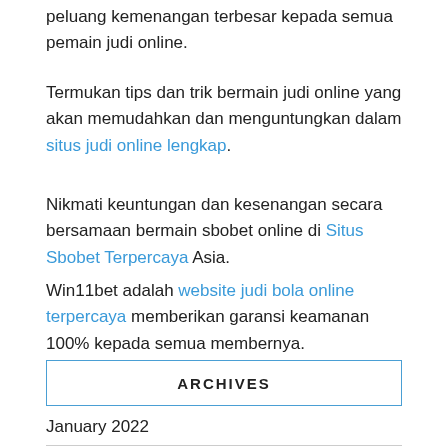peluang kemenangan terbesar kepada semua pemain judi online.
Termukan tips dan trik bermain judi online yang akan memudahkan dan menguntungkan dalam situs judi online lengkap.
Nikmati keuntungan dan kesenangan secara bersamaan bermain sbobet online di Situs Sbobet Terpercaya Asia.
Win11bet adalah website judi bola online terpercaya memberikan garansi keamanan 100% kepada semua membernya.
ARCHIVES
January 2022